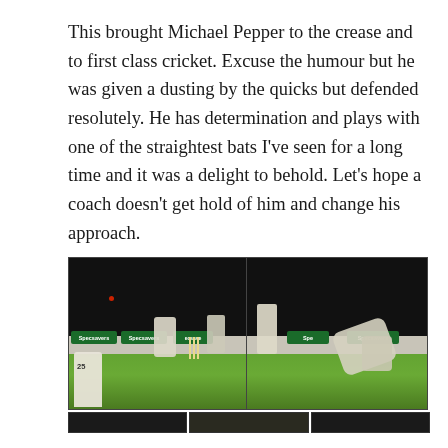This brought Michael Pepper to the crease and to first class cricket. Excuse the humour but he was given a dusting by the quicks but defended resolutely. He has determination and plays with one of the straightest bats I've seen for a long time and it was a delight to behold. Let's hope a coach doesn't get hold of him and change his approach.
[Figure (photo): Two side-by-side cricket match photographs showing players on a cricket field with Specsavers advertising boards visible. Left photo shows a batsman at the crease with wicket-keeper and fielder, player number 25 visible in foreground. Right photo shows a diving/falling wicket-keeper or fielder. Dark background sky. Green grass field. A row of partial images visible at the very bottom of the page.]